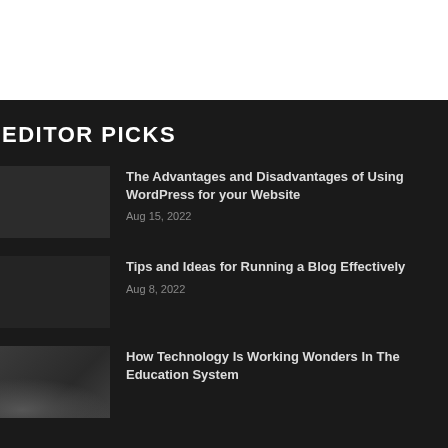EDITOR PICKS
The Advantages and Disadvantages of Using WordPress for your Website
Aug 15, 2022
Tips and Ideas for Running a Blog Effectively
Aug 8, 2022
How Technology Is Working Wonders In The Education System